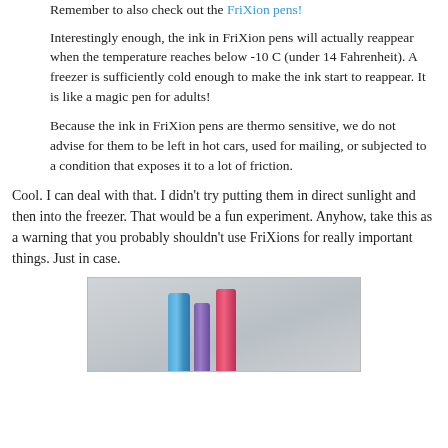Remember to also check out the FriXion pens!
Interestingly enough, the ink in FriXion pens will actually reappear when the temperature reaches below -10 C (under 14 Fahrenheit). A freezer is sufficiently cold enough to make the ink start to reappear. It is like a magic pen for adults!
Because the ink in FriXion pens are thermo sensitive, we do not advise for them to be left in hot cars, used for mailing, or subjected to a condition that exposes it to a lot of friction.
Cool. I can deal with that. I didn't try putting them in direct sunlight and then into the freezer. That would be a fun experiment. Anyhow, take this as a warning that you probably shouldn't use FriXions for really important things. Just in case.
[Figure (photo): Photo of FriXion pens standing upright — a blue pen, a purple pen, and a red/pink pen against a light grey background.]